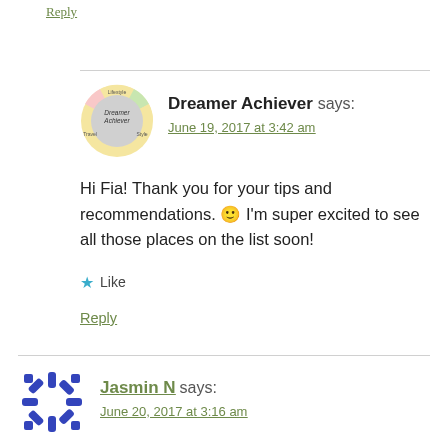Reply
[Figure (illustration): Avatar logo for Dreamer Achiever blog — circular grey badge with 'Dreamer Achiever' text, surrounded by pastel pink/yellow/green border segments reading Lifestyle, Travel, Style]
Dreamer Achiever says:
June 19, 2017 at 3:42 am
Hi Fia! Thank you for your tips and recommendations. 🙂 I'm super excited to see all those places on the list soon!
★ Like
Reply
[Figure (illustration): Avatar icon for Jasmin N — blue/purple starburst/asterisk pattern on white background]
Jasmin N says:
June 20, 2017 at 3:16 am